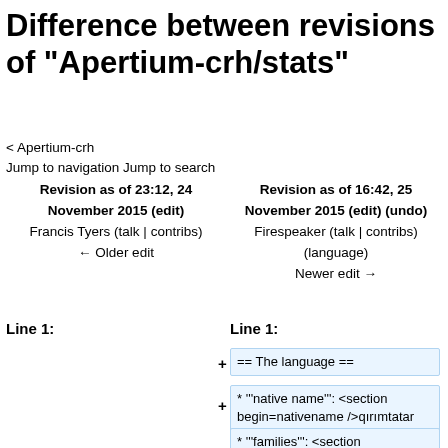Difference between revisions of "Apertium-crh/stats"
< Apertium-crh
Jump to navigation Jump to search
Revision as of 23:12, 24 November 2015 (edit)
Francis Tyers (talk | contribs)
← Older edit
Revision as of 16:42, 25 November 2015 (edit) (undo)
Firespeaker (talk | contribs)
(language)
Newer edit →
Line 1:
Line 1:
+ == The language ==
+ * '''native name''': <section begin=nativename />qırımtatar tili<section end=nativename />
* '''families''': <section